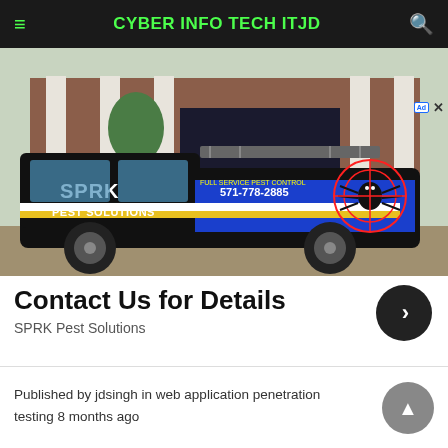≡  CYBER INFO TECH ITJD  🔍
[Figure (photo): A black and blue branded pickup truck for SPRK Pest Solutions with a large spider graphic on the side door, parked in front of a brick building with white columns. Text on truck: SPRK PEST SOLUTIONS, 571-778-2885, FULL SERVICE PEST CONTROL, sprk pestsolutions.com]
Contact Us for Details
SPRK Pest Solutions
Published by jdsingh in web application penetration testing 8 months ago